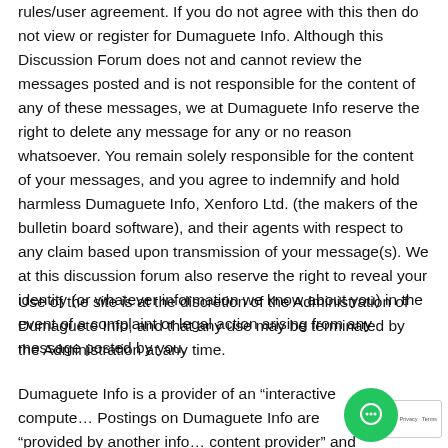rules/user agreement. If you do not agree with this then do not view or register for Dumaguete Info. Although this Discussion Forum does not and cannot review the messages posted and is not responsible for the content of any of these messages, we at Dumaguete Info reserve the right to delete any message for any or no reason whatsoever. You remain solely responsible for the content of your messages, and you agree to indemnify and hold harmless Dumaguete Info, Xenforo Ltd. (the makers of the bulletin board software), and their agents with respect to any claim based upon transmission of your message(s). We at this discussion forum also reserve the right to reveal your identity (or whatever information we know about you) in the event of a complaint or legal action arising from any message posted by you.
Use of the site is at the discretion of the Administration of Dumaguete Info, and that any use may be terminated by the Administration at any time.
Dumaguete Info is a provider of an “interactive computer… Postings on Dumaguete Info are “provided by another info… content provider” and not Dumaguete Info has accepted by the…